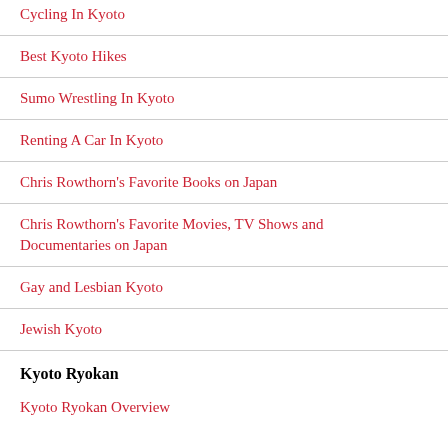Cycling In Kyoto
Best Kyoto Hikes
Sumo Wrestling In Kyoto
Renting A Car In Kyoto
Chris Rowthorn's Favorite Books on Japan
Chris Rowthorn's Favorite Movies, TV Shows and Documentaries on Japan
Gay and Lesbian Kyoto
Jewish Kyoto
Kyoto Ryokan
Kyoto Ryokan Overview